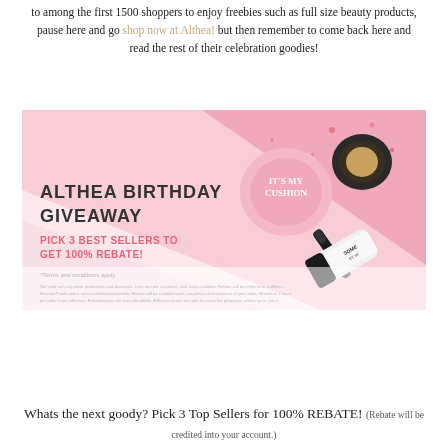to among the first 1500 shoppers to enjoy freebies such as full size beauty products, pause here and go shop now at Althea! but then remember to come back here and read the rest of their celebration goodies!
[Figure (illustration): Althea Birthday Giveaway promotional banner on pink background with beauty products (cushion, mascara, tube). Text reads: ALTHEA BIRTHDAY GIVEAWAY - PICK 3 BEST SELLERS TO GET 100% REBATE! *Terms and conditions apply. Fine print about rebate conditions.]
Whats the next goody? Pick 3 Top Sellers for 100% REBATE! (Rebate will be credited into your account.)